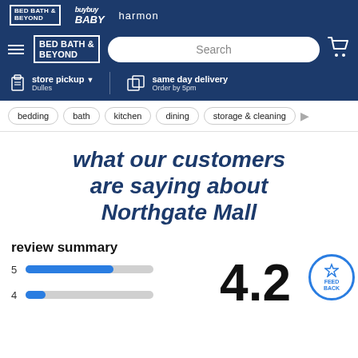[Figure (screenshot): Bed Bath & Beyond website header with navigation bar showing BuyBuy Baby and Harmon logos]
[Figure (screenshot): Search bar with Bed Bath & Beyond logo, hamburger menu, and shopping cart]
[Figure (screenshot): Store pickup (Dulles) and same day delivery (Order by 5pm) options]
[Figure (screenshot): Category navigation pills: bedding, bath, kitchen, dining, storage & cleaning]
what our customers are saying about Northgate Mall
review summary
[Figure (bar-chart): Rating distribution]
4.2